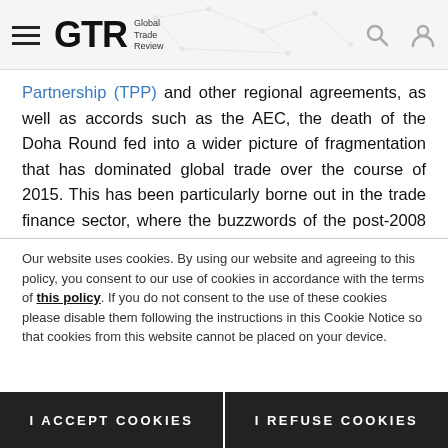GTR Global Trade Review
Partnership (TPP) and other regional agreements, as well as accords such as the AEC, the death of the Doha Round fed into a wider picture of fragmentation that has dominated global trade over the course of 2015. This has been particularly borne out in the trade finance sector, where the buzzwords of the post-2008 era, “retrenchment” and “consolidation”, have once more passed into common parlance.
It’s been clearly visible in a year spent representing GTR around Asia. Along with the constant speculation and debate about China, the overwhelming majority of banks and companies I spoke to from Korea to Indonesia, from Sri Lanka to Malaysia talk about cutting lines, de-risking and focusing on
Our website uses cookies. By using our website and agreeing to this policy, you consent to our use of cookies in accordance with the terms of this policy. If you do not consent to the use of these cookies please disable them following the instructions in this Cookie Notice so that cookies from this website cannot be placed on your device.
I ACCEPT COOKIES
I REFUSE COOKIES